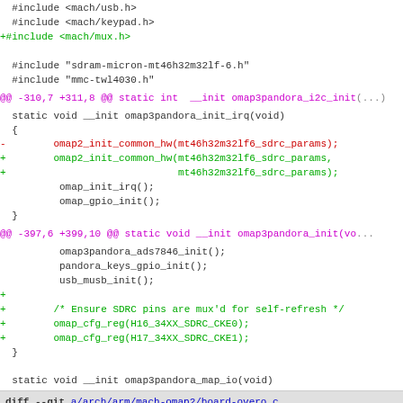#include <mach/usb.h>
 #include <mach/keypad.h>
+#include <mach/mux.h>

 #include "sdram-micron-mt46h32m32lf-6.h"
 #include "mmc-twl4030.h"
@@ -310,7 +311,8 @@ static int __init omap3pandora_i2c_init(
static void __init omap3pandora_init_irq(void)
 {
-        omap2_init_common_hw(mt46h32m32lf6_sdrc_params);
+        omap2_init_common_hw(mt46h32m32lf6_sdrc_params,
+                             mt46h32m32lf6_sdrc_params);
         omap_init_irq();
         omap_gpio_init();
 }
@@ -397,6 +399,10 @@ static void __init omap3pandora_init(vo
omap3pandora_ads7846_init();
        pandora_keys_gpio_init();
        usb_musb_init();
+
+        /* Ensure SDRC pins are mux'd for self-refresh */
+        omap_cfg_reg(H16_34XX_SDRC_CKE0);
+        omap_cfg_reg(H17_34XX_SDRC_CKE1);
 }
static void __init omap3pandora_map_io(void)
diff --git a/arch/arm/mach-omap2/board-overo.c b/arch/arm/mach-omap2/board-overo.c
index
dff5529fbfb567fbdd661d1546e5e8ee03e99ed7...6bce33004ee4be0f